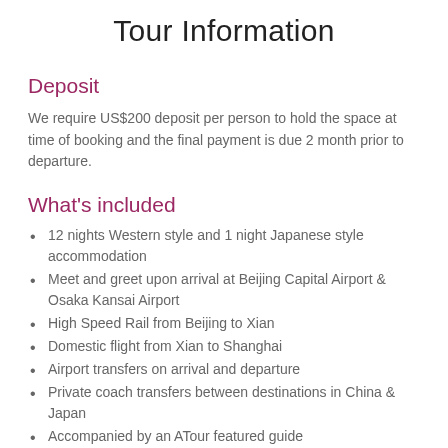Tour Information
Deposit
We require US$200 deposit per person to hold the space at time of booking and the final payment is due 2 month prior to departure.
What's included
12 nights Western style and 1 night Japanese style accommodation
Meet and greet upon arrival at Beijing Capital Airport & Osaka Kansai Airport
High Speed Rail from Beijing to Xian
Domestic flight from Xian to Shanghai
Airport transfers on arrival and departure
Private coach transfers between destinations in China & Japan
Accompanied by an ATour featured guide